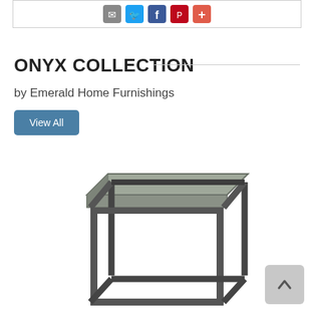[Figure (screenshot): Social sharing icons: email, Twitter, Facebook, Pinterest, and a red plus/add button inside a bordered box]
ONYX COLLECTION
by Emerald Home Furnishings
View All
[Figure (photo): A modern end table / side table with a grey concrete-look square top and a dark gunmetal open cube metal frame base, product photo on white background]